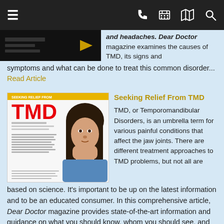Navigation bar with hamburger menu, phone, calendar, map, and search icons
and headaches. Dear Doctor magazine examines the causes of TMD, its signs and symptoms and what can be done to treat this common disorder... Read Article
Seeking Relief From TMD
[Figure (photo): Magazine cover for 'Seeking Relief From TMD' showing a woman with dark hair resting her chin on her hand, looking distressed, with red TMD text]
TMD, or Temporomandibular Disorders, is an umbrella term for various painful conditions that affect the jaw joints. There are different treatment approaches to TMD problems, but not all are based on science. It's important to be up on the latest information and to be an educated consumer. In this comprehensive article, Dear Doctor magazine provides state-of-the-art information and guidance on what you should know, whom you should see, and what you should ask... Read Article